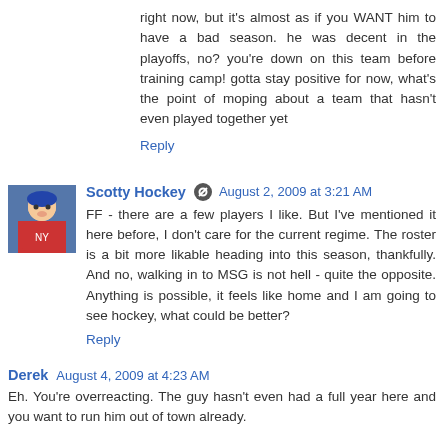right now, but it's almost as if you WANT him to have a bad season. he was decent in the playoffs, no? you're down on this team before training camp! gotta stay positive for now, what's the point of moping about a team that hasn't even played together yet
Reply
Scotty Hockey  August 2, 2009 at 3:21 AM
FF - there are a few players I like. But I've mentioned it here before, I don't care for the current regime. The roster is a bit more likable heading into this season, thankfully. And no, walking in to MSG is not hell - quite the opposite. Anything is possible, it feels like home and I am going to see hockey, what could be better?
Reply
Derek  August 4, 2009 at 4:23 AM
Eh. You're overreacting. The guy hasn't even had a full year here and you want to run him out of town already.